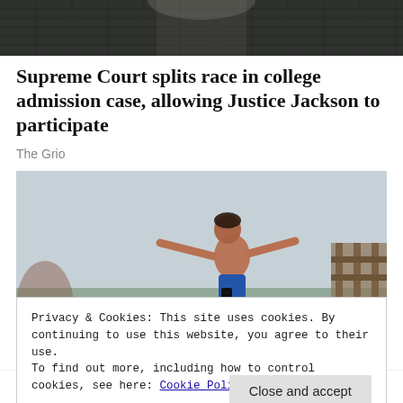[Figure (photo): Partial view of a person in a dark textured jacket or armor, cropped at top]
Supreme Court splits race in college admission case, allowing Justice Jackson to participate
The Grio
[Figure (photo): A child jumping off a bridge or railing at a beach, arms spread wide, wearing blue swim trunks, overcast sky in background]
Privacy & Cookies: This site uses cookies. By continuing to use this website, you agree to their use.
To find out more, including how to control cookies, see here: Cookie Policy
Close and accept
from 'Jaws' bridge in Martha's Vineyard